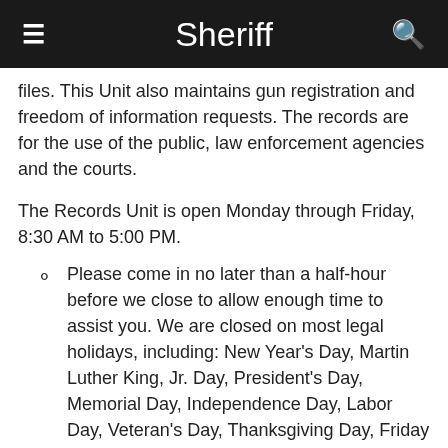Sheriff
files. This Unit also maintains gun registration and freedom of information requests. The records are for the use of the public, law enforcement agencies and the courts.
The Records Unit is open Monday through Friday, 8:30 AM to 5:00 PM.
Please come in no later than a half-hour before we close to allow enough time to assist you. We are closed on most legal holidays, including: New Year's Day, Martin Luther King, Jr. Day, President's Day, Memorial Day, Independence Day, Labor Day, Veteran's Day, Thanksgiving Day, Friday after Thanksgiving, Christmas Eve, Christmas Day and New Year's Eve.
If you have a question on holiday closings, please contact us at 248-858-5011.
The Records Unit is located on the East side of the